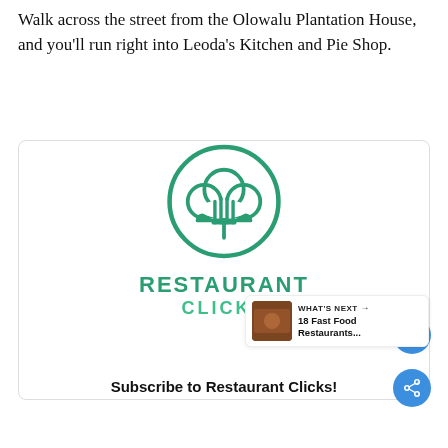Walk across the street from the Olowalu Plantation House, and you'll run right into Leoda's Kitchen and Pie Shop.
[Figure (logo): Restaurant Clicks logo: a green circle outline containing a chef's hat with a fork overlay, with bold text 'RESTAURANT CLICKS' below in green]
Subscribe to Restaurant Clicks!